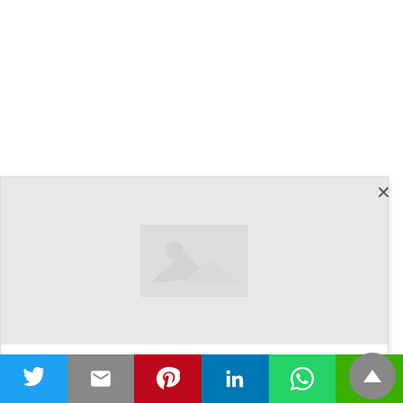[Figure (screenshot): Article page screenshot showing a modal popup with a placeholder image, category label ENTERTAINMENT, article title starting 'Viserys Chooses Alicent To Be His New', a close (X) button, a scroll-to-top button, and a social share bar at the bottom with Twitter, Gmail, Pinterest, LinkedIn, WhatsApp, and LINE buttons.]
ENTERTAINMENT
Viserys Chooses Alicent To Be His New